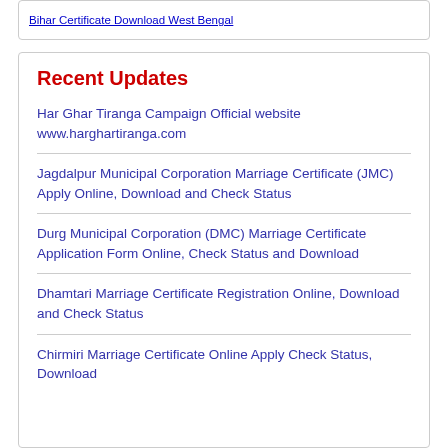Bihar Certificate Download West Bengal
Recent Updates
Har Ghar Tiranga Campaign Official website www.harghartiranga.com
Jagdalpur Municipal Corporation Marriage Certificate (JMC) Apply Online, Download and Check Status
Durg Municipal Corporation (DMC) Marriage Certificate Application Form Online, Check Status and Download
Dhamtari Marriage Certificate Registration Online, Download and Check Status
Chirmiri Marriage Certificate Online Apply Check Status, Download